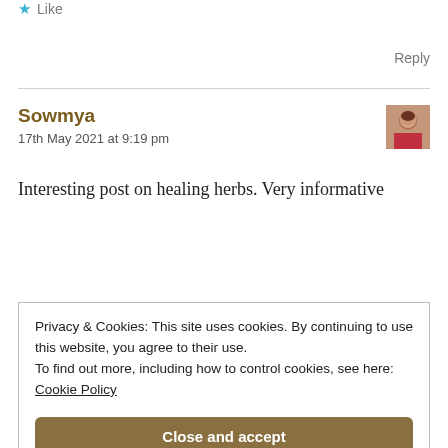★ Like
Reply
Sowmya
17th May 2021 at 9:19 pm
Interesting post on healing herbs. Very informative
★ Liked by 2 people
Privacy & Cookies: This site uses cookies. By continuing to use this website, you agree to their use. To find out more, including how to control cookies, see here: Cookie Policy
Close and accept
I am very happy that you thought so! Thank you! Yes